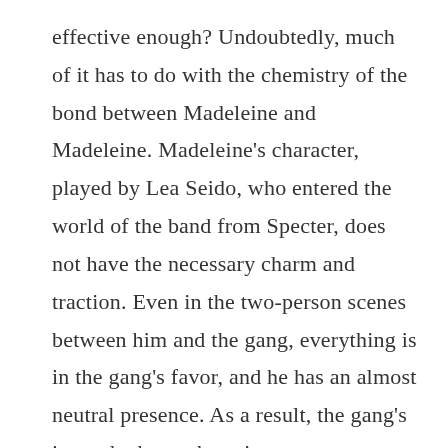effective enough? Undoubtedly, much of it has to do with the chemistry of the bond between Madeleine and Madeleine. Madeleine's character, played by Lea Seido, who entered the world of the band from Specter, does not have the necessary charm and traction. Even in the two-person scenes between him and the gang, everything is in the gang's favor, and he has an almost neutral presence. As a result, the gang's inner doubts and tensions seem somewhat ineffective. Her presence is not even so convincing that we can accept the gang's attempt to forget Vesper (the band's mistress from Casino Royale). Although Madeleine's hidden secrets and the suspicion